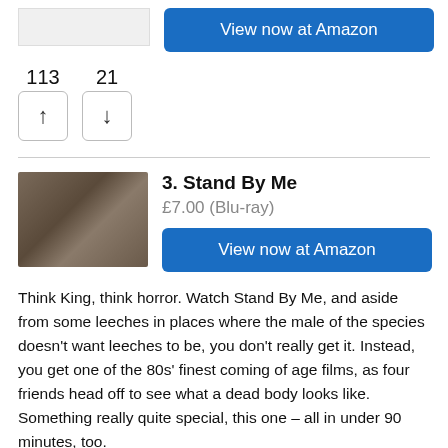[Figure (other): Placeholder image (top, previous item)]
View now at Amazon
113  21  ↑  ↓
[Figure (photo): Movie still from Stand By Me showing four boys in an outdoor scene]
3. Stand By Me
£7.00 (Blu-ray)
View now at Amazon
Think King, think horror. Watch Stand By Me, and aside from some leeches in places where the male of the species doesn't want leeches to be, you don't really get it. Instead, you get one of the 80s' finest coming of age films, as four friends head off to see what a dead body looks like. Something really quite special, this one – all in under 90 minutes, too.